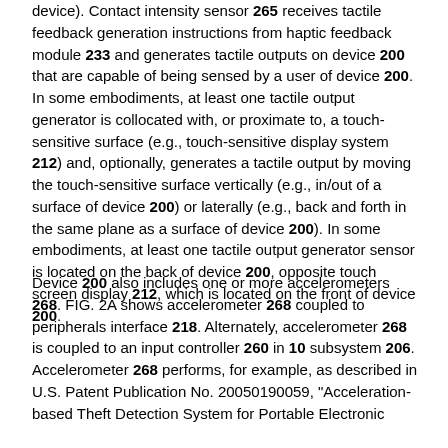device). Contact intensity sensor 265 receives tactile feedback generation instructions from haptic feedback module 233 and generates tactile outputs on device 200 that are capable of being sensed by a user of device 200. In some embodiments, at least one tactile output generator is collocated with, or proximate to, a touch-sensitive surface (e.g., touch-sensitive display system 212) and, optionally, generates a tactile output by moving the touch-sensitive surface vertically (e.g., in/out of a surface of device 200) or laterally (e.g., back and forth in the same plane as a surface of device 200). In some embodiments, at least one tactile output generator sensor is located on the back of device 200, opposite touch screen display 212, which is located on the front of device 200.
Device 200 also includes one or more accelerometers 268. FIG. 2A shows accelerometer 268 coupled to peripherals interface 218. Alternately, accelerometer 268 is coupled to an input controller 260 in 10 subsystem 206. Accelerometer 268 performs, for example, as described in U.S. Patent Publication No. 20050190059, "Acceleration-based Theft Detection System for Portable Electronic